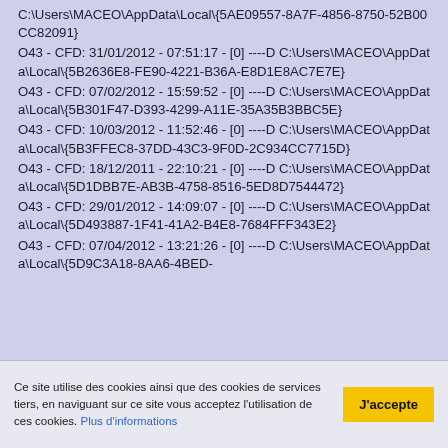C:\Users\MACEO\AppData\Local\{5AE09557-8A7F-4856-8750-52B00CC82091}
O43 - CFD: 31/01/2012 - 07:51:17 - [0] ----D C:\Users\MACEO\AppData\Local\{5B2636E8-FE90-4221-B36A-E8D1E8AC7E7E}
O43 - CFD: 07/02/2012 - 15:59:52 - [0] ----D C:\Users\MACEO\AppData\Local\{5B301F47-D393-4299-A11E-35A35B3BBC5E}
O43 - CFD: 10/03/2012 - 11:52:46 - [0] ----D C:\Users\MACEO\AppData\Local\{5B3FFEC8-37DD-43C3-9F0D-2C934CC7715D}
O43 - CFD: 18/12/2011 - 22:10:21 - [0] ----D C:\Users\MACEO\AppData\Local\{5D1DBB7E-AB3B-4758-8516-5ED8D7544472}
O43 - CFD: 29/01/2012 - 14:09:07 - [0] ----D C:\Users\MACEO\AppData\Local\{5D493887-1F41-41A2-B4E8-7684FFF343E2}
O43 - CFD: 07/04/2012 - 13:21:26 - [0] ----D C:\Users\MACEO\AppData\Local\{5D9C3A18-8AA6-4BED-
Ce site utilise des cookies ainsi que des cookies de services tiers, en naviguant sur ce site vous acceptez l'utilisation de ces cookies. Plus d'informations